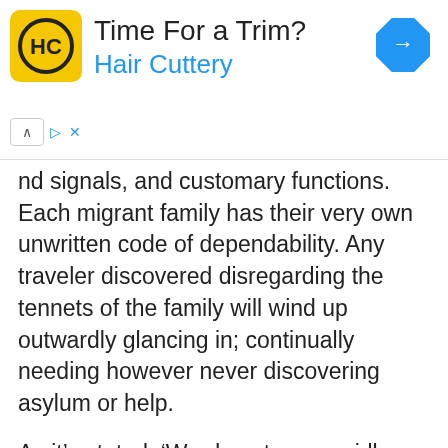[Figure (infographic): Hair Cuttery advertisement banner with yellow logo showing HC initials, title 'Time For a Trim?', subtitle 'Hair Cuttery', and a blue diamond navigation icon in the top right corner. A caret/collapse control and X button appear below the banner.]
nd signals, and customary functions. Each migrant family has their very own unwritten code of dependability. Any traveler discovered disregarding the tennets of the family will wind up outwardly glancing in; continually needing however never discovering asylum or help.
As it's stated, ‘Word ventures rapidly on streets, however, wait in urban communities.’ An expelled wanderer never discovers a safe house in or out of towns. Work with your DM to make sense of where you have family, what their identity is, and what your family’s qualities are.